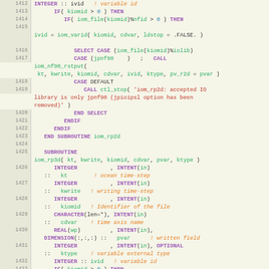[Figure (screenshot): Fortran source code listing with line numbers 1412-1433, showing subroutine iom_rp2d and iom_rp3d with syntax highlighting. Keywords in purple/bold, identifiers in green, strings in red, comments in orange italic.]